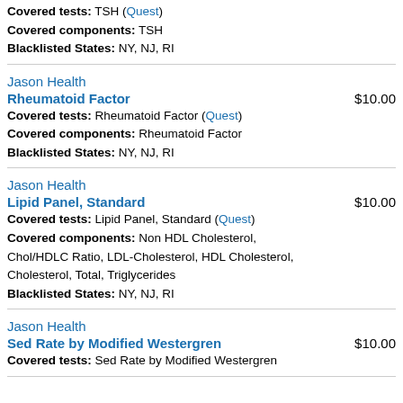Covered tests: TSH (Quest)
Covered components: TSH
Blacklisted States: NY, NJ, RI
Jason Health
Rheumatoid Factor   $10.00
Covered tests: Rheumatoid Factor (Quest)
Covered components: Rheumatoid Factor
Blacklisted States: NY, NJ, RI
Jason Health
Lipid Panel, Standard   $10.00
Covered tests: Lipid Panel, Standard (Quest)
Covered components: Non HDL Cholesterol, Chol/HDLC Ratio, LDL-Cholesterol, HDL Cholesterol, Cholesterol, Total, Triglycerides
Blacklisted States: NY, NJ, RI
Jason Health
Sed Rate by Modified Westergren   $10.00
Covered tests: Sed Rate by Modified Westergren